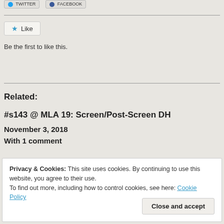[Figure (other): Twitter and Facebook share buttons at top]
Like
Be the first to like this.
Related:
#s143 @ MLA 19: Screen/Post-Screen DH
November 3, 2018
With 1 comment
Privacy & Cookies: This site uses cookies. By continuing to use this website, you agree to their use.
To find out more, including how to control cookies, see here: Cookie Policy